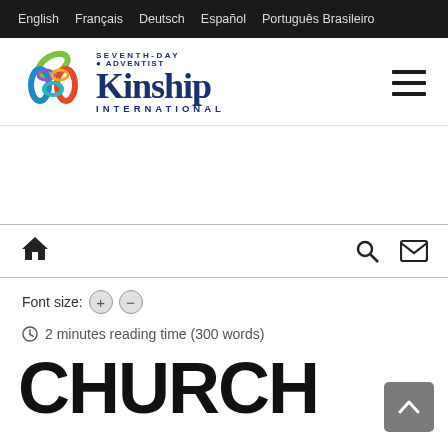English  Français  Deutsch  Español  Português Brasileiro
[Figure (logo): Seventh-day Adventist Kinship International logo with colorful interlocking loops and dark blue wordmark]
Font size: + −
2 minutes reading time (300 words)
CHURCH